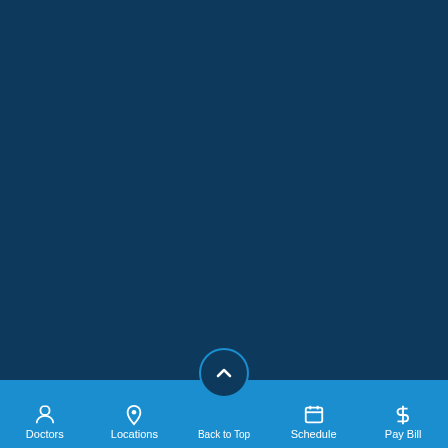McLaren Hospitals +
Audience Navigator +
About McLaren +
Contact Us
[Figure (other): Social media icons: Facebook, Twitter, LinkedIn, YouTube]
Compliance Program and Resources | Website Privacy Policies
Doctors  Locations  Back to Top  Schedule  Pay Bill